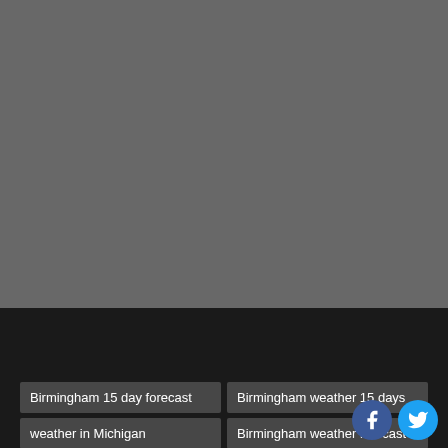[Figure (screenshot): Gray placeholder area filling the top portion of the page]
Birmingham 15 day forecast
Birmingham weather 15 days
weather in Michigan
Birmingham weather forecast